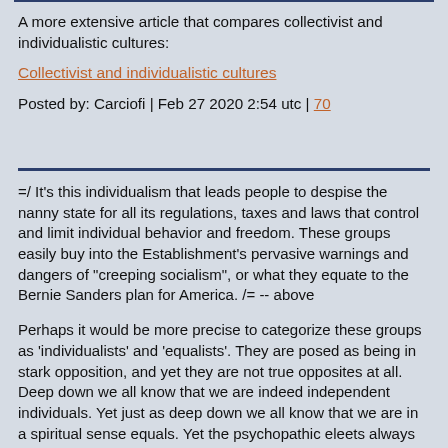A more extensive article that compares collectivist and individualistic cultures:
Collectivist and individualistic cultures
Posted by: Carciofi | Feb 27 2020 2:54 utc | 70
=/ It's this individualism that leads people to despise the nanny state for all its regulations, taxes and laws that control and limit individual behavior and freedom. These groups easily buy into the Establishment's pervasive warnings and dangers of "creeping socialism", or what they equate to the Bernie Sanders plan for America. /= -- above
Perhaps it would be more precise to categorize these groups as 'individualists' and 'equalists'. They are posed as being in stark opposition, and yet they are not true opposites at all. Deep down we all know that we are indeed independent individuals. Yet just as deep down we all know that we are in a spiritual sense equals. Yet the psychopathic eleets always insist that we must constantly be in opposition to these intrinsic aspects of our own selves. It was always about divide and conquer, in every possible aspect.
The so-called 'state' has always been a larger aspect of family. A family always troubled with many warts and and